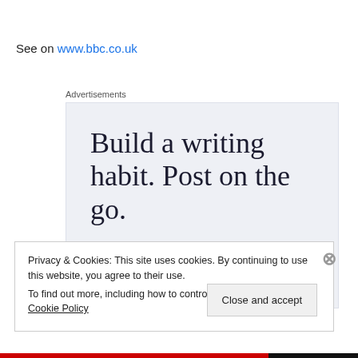See on www.bbc.co.uk
Advertisements
[Figure (screenshot): Advertisement banner with large serif text reading 'Build a writing habit. Post on the go.' on a light blue-grey background, with a globe/app icon in the bottom right corner.]
Privacy & Cookies: This site uses cookies. By continuing to use this website, you agree to their use. To find out more, including how to control cookies, see here: Cookie Policy
Close and accept